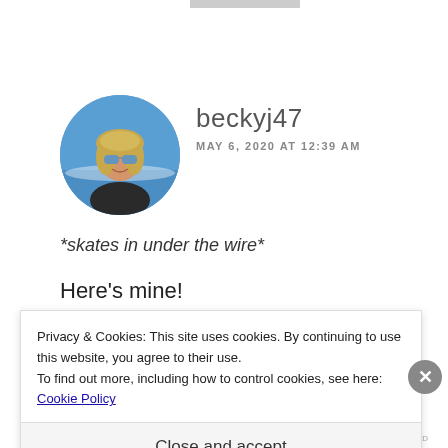[Figure (photo): Circular avatar photo of a woman with blonde hair and blue sunglasses at a beach]
beckyj47
MAY 6, 2020 AT 12:39 AM
*skates in under the wire*
Here's mine!
Privacy & Cookies: This site uses cookies. By continuing to use this website, you agree to their use.
To find out more, including how to control cookies, see here:
Cookie Policy
Close and accept